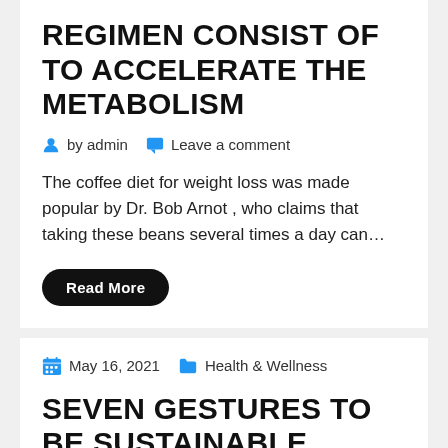REGIMEN CONSIST OF TO ACCELERATE THE METABOLISM
by admin   Leave a comment
The coffee diet for weight loss was made popular by Dr. Bob Arnot , who claims that taking these beans several times a day can…
Read More
May 16, 2021   Health & Wellness
SEVEN GESTURES TO BE SUSTAINABLE THROUGH